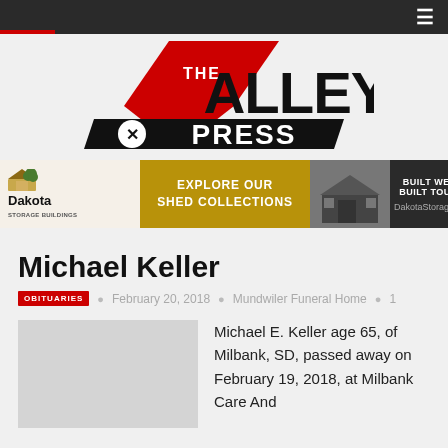[Figure (logo): The Valley Express newspaper logo with red chevron/arrow shape and black bold text]
[Figure (infographic): Dakota Storage Buildings advertisement banner: 'EXPLORE OUR SHED COLLECTIONS', 'BUILT WELL, BUILT TOUGH.', 'DakotaStorage.com']
Michael Keller
OBITUARIES   February 20, 2018   Mundwiler Funeral Home   1
Michael E. Keller age 65, of Milbank, SD, passed away on February 19, 2018, at Milbank Care And